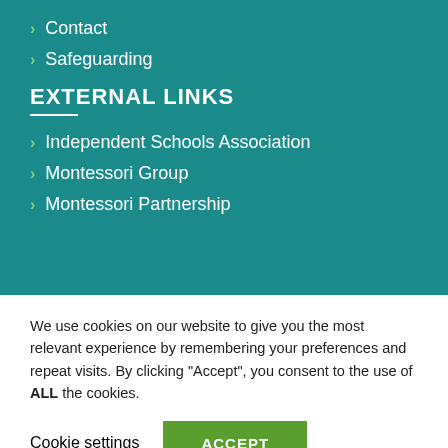Contact
Safeguarding
EXTERNAL LINKS
Independent Schools Association
Montessori Group
Montessori Partnership
We use cookies on our website to give you the most relevant experience by remembering your preferences and repeat visits. By clicking “Accept”, you consent to the use of ALL the cookies.
Cookie settings
ACCEPT